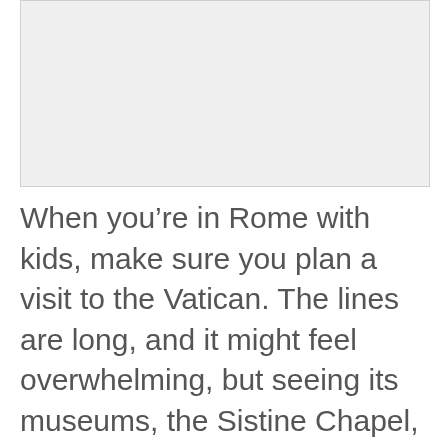[Figure (photo): Placeholder image area at top of page, light gray rectangle]
When you’re in Rome with kids, make sure you plan a visit to the Vatican. The lines are long, and it might feel overwhelming, but seeing its museums, the Sistine Chapel, and St. Peter’s Basilica will create significant memories for everyone in the family.